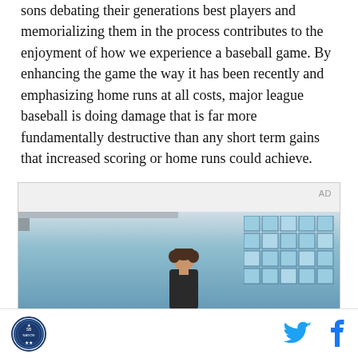sons debating their generations best players and memorializing them in the process contributes to the enjoyment of how we experience a baseball game. By enhancing the game the way it has been recently and emphasizing home runs at all costs, major league baseball is doing damage that is far more fundamentally destructive than any short term gains that increased scoring or home runs could achieve.
[Figure (photo): Advertisement box with 'AD' label in top right corner. Below is a photo of a young man standing in front of a large grid window wall (blue-tinted glass panels), in an indoor setting with ceiling beams visible.]
SB Nation logo | Twitter icon | Facebook icon